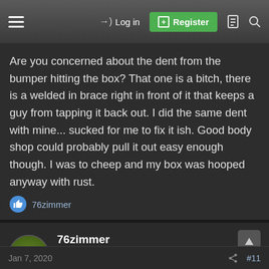Log in | Register
Are you concerned about the dent from the bumper hitting the box? That one is a bitch, there is a welded in brace right in front of it that keeps a guy from tapping it back out. I did the same dent with mine... sucked for me to fix it ish. Good body shop could probably pull it out easy enough though. I was to cheep and my box was hooped anyway with rust.
76zimmer
76zimmer
Flyin Rat  Staff member  Moderator  GMOTM Winner
Jan 7, 2020  #11